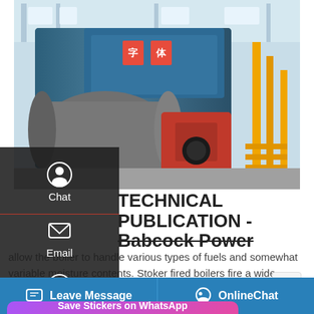[Figure (photo): Industrial boiler equipment in a factory setting. Large blue cylindrical boiler with red burner unit and yellow piping visible.]
TECHNICAL PUBLICATION - Babcock Power
allow the boiler to handle various types of fuels and somewhat variable moisture contents. Stoker fired boilers fire a wide range of agricultural wastes, wood waste and derived fuels. Biomass combustion
[Figure (screenshot): Save Stickers on WhatsApp promotional banner with phone and emoji icons]
Leave Message   OnlineChat